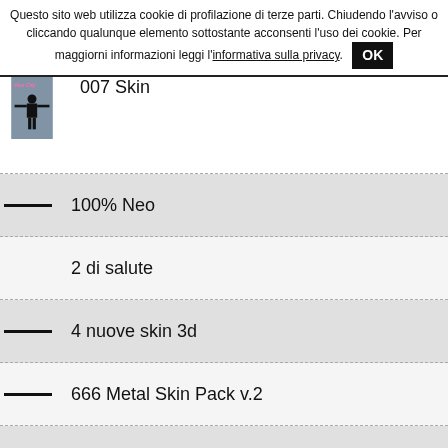Questo sito web utilizza cookie di profilazione di terze parti. Chiudendo l'avviso o cliccando qualunque elemento sottostante acconsenti l'uso dei cookie. Per maggiorni informazioni leggi l'informativa sulla privacy.
007 Skin
100% Neo
2 di salute
4 nuove skin 3d
666 Metal Skin Pack v.2
A-Diesel Skin
Abstract Shirt
Abstract Shirt DJ Marcus